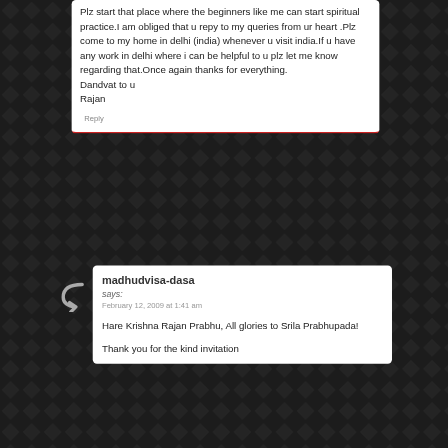Plz start that place where the beginners like me can start spiritual practice.I am obliged that u repy to my queries from ur heart .Plz come to my home in delhi (india) whenever u visit india.If u have any work in delhi where i can be helpful to u plz let me know regarding that.Once again thanks for everything.
Dandvat to u
Rajan
Reply
madhudvisa-dasa
says:
February 12, 2009 at 1:41 am
Hare Krishna Rajan Prabhu, All glories to Srila Prabhupada!
Thank you for the kind invitation